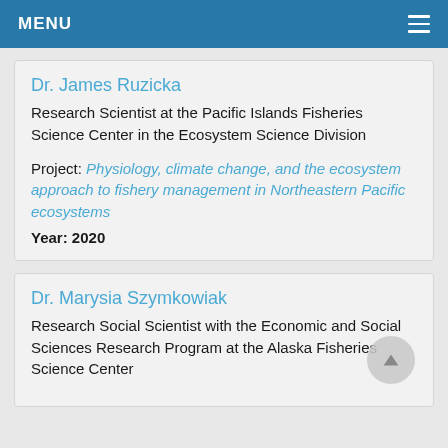MENU
Dr. James Ruzicka
Research Scientist at the Pacific Islands Fisheries Science Center in the Ecosystem Science Division
Project: Physiology, climate change, and the ecosystem approach to fishery management in Northeastern Pacific ecosystems
Year: 2020
Dr. Marysia Szymkowiak
Research Social Scientist with the Economic and Social Sciences Research Program at the Alaska Fisheries Science Center